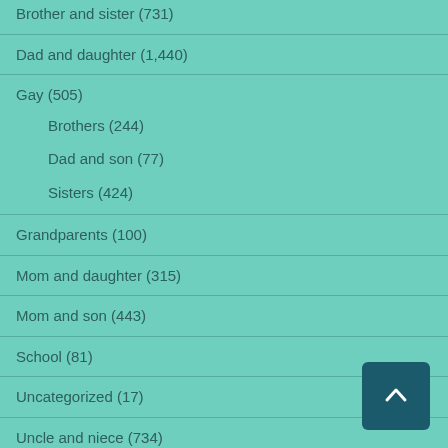Brother and sister (731)
Dad and daughter (1,440)
Gay (505)
Brothers (244)
Dad and son (77)
Sisters (424)
Grandparents (100)
Mom and daughter (315)
Mom and son (443)
School (81)
Uncategorized (17)
Uncle and niece (734)
Young lovers (1,093)